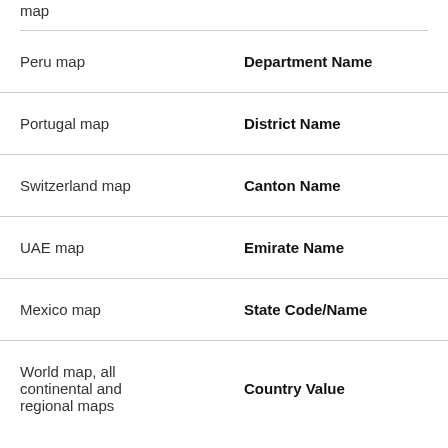map
| Peru map | Department Name |
| Portugal map | District Name |
| Switzerland map | Canton Name |
| UAE map | Emirate Name |
| Mexico map | State Code/Name |
| World map, all continental and regional maps | Country Value |